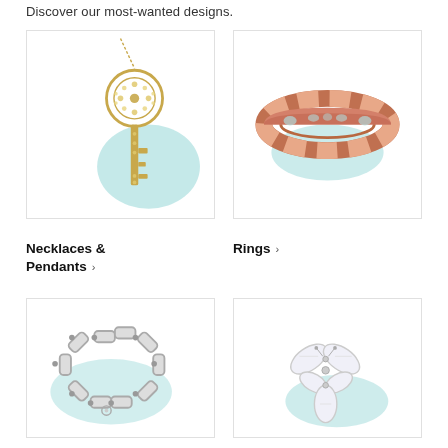Discover our most-wanted designs.
[Figure (photo): Gold diamond key pendant necklace on light teal background]
[Figure (photo): Rose gold open-work band ring on white background with teal shadow]
Necklaces & Pendants >
Rings >
[Figure (photo): Sterling silver chain link bracelet on white background with teal accent]
[Figure (photo): Diamond marquise butterfly stud earrings on white background with teal accent]